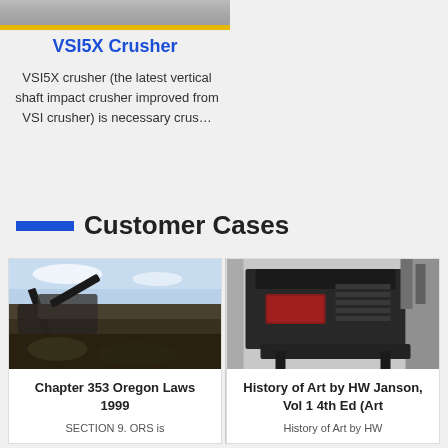[Figure (photo): Partial view of industrial machinery, top image strip]
VSI5X Crusher
VSI5X crusher (the latest vertical shaft impact crusher improved from VSI crusher) is necessary crus…
Customer Cases
[Figure (photo): Outdoor quarry/mining site with heavy machinery and equipment]
Chapter 353 Oregon Laws 1999
SECTION 9. ORS is
[Figure (photo): Industrial impact crusher machine in a warehouse/factory setting]
History of Art by HW Janson, Vol 1 4th Ed (Art
History of Art by HW